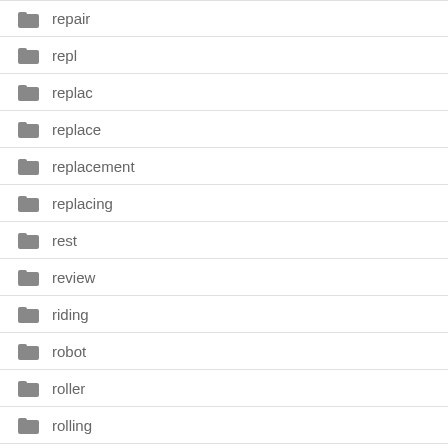repair
repl
replac
replace
replacement
replacing
rest
review
riding
robot
roller
rolling